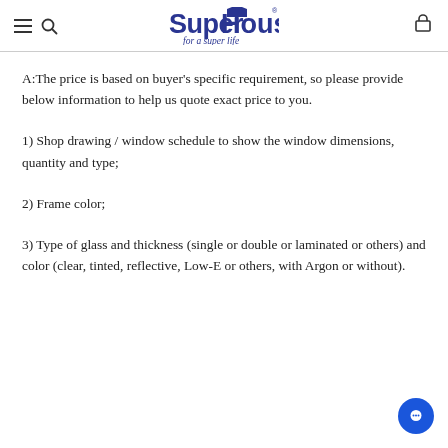SuperHouse for a super life
A:The price is based on buyer's specific requirement, so please provide below information to help us quote exact price to you.
1) Shop drawing / window schedule to show the window dimensions, quantity and type;
2) Frame color;
3) Type of glass and thickness (single or double or laminated or others) and color (clear, tinted, reflective, Low-E or others, with Argon or without).